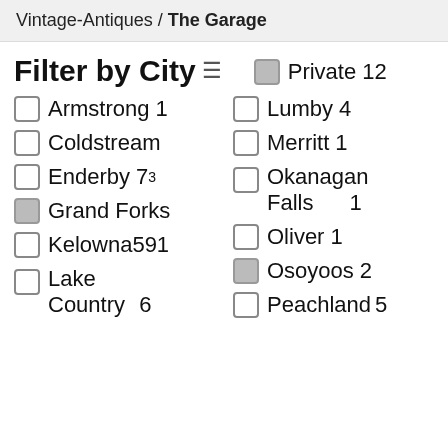Vintage-Antiques / The Garage
Filter by City
Private 12
Armstrong 1
Lumby 4
Coldstream
Merritt 1
Enderby 73
Okanagan Falls 1
Grand Forks
Oliver 1
Kelowna 591
Osoyoos 2
Lake Country 6
Peachland 5